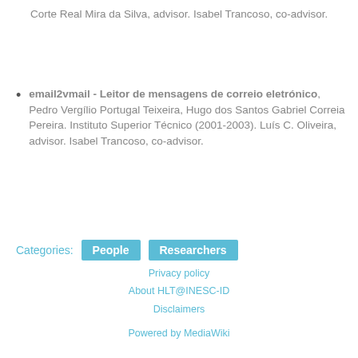Corte Real Mira da Silva, advisor. Isabel Trancoso, co-advisor.
email2vmail - Leitor de mensagens de correio eletrónico, Pedro Vergílio Portugal Teixeira, Hugo dos Santos Gabriel Correia Pereira. Instituto Superior Técnico (2001-2003). Luís C. Oliveira, advisor. Isabel Trancoso, co-advisor.
Categories: People Researchers
Privacy policy
About HLT@INESC-ID
Disclaimers
Powered by MediaWiki